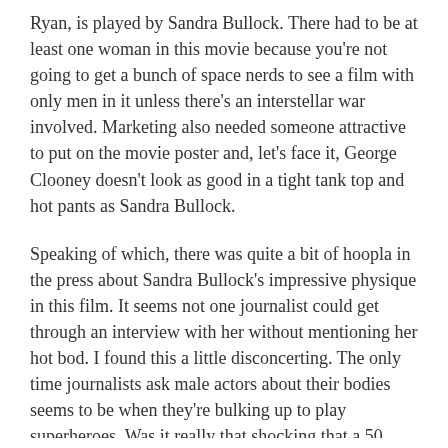Ryan, is played by Sandra Bullock. There had to be at least one woman in this movie because you're not going to get a bunch of space nerds to see a film with only men in it unless there's an interstellar war involved. Marketing also needed someone attractive to put on the movie poster and, let's face it, George Clooney doesn't look as good in a tight tank top and hot pants as Sandra Bullock.
Speaking of which, there was quite a bit of hoopla in the press about Sandra Bullock's impressive physique in this film. It seems not one journalist could get through an interview with her without mentioning her hot bod. I found this a little disconcerting. The only time journalists ask male actors about their bodies seems to be when they're bulking up to play superheroes. Was it really that shocking that a 50 year old actress could be in great shape? My friend K is 50 and she's a total hardbody even with two kids, a pretty intense career as a lawyer and no chef or personal trainer.